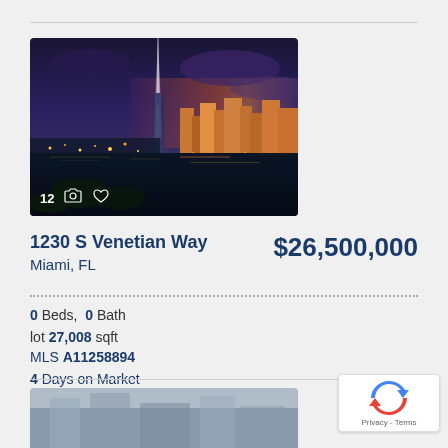[Figure (photo): Aerial night photo of Miami city skyline with a bright light beam and waterfront, taken at dusk/night]
1230 S Venetian Way
Miami, FL
$26,500,000
0 Beds, 0 Bath
lot 27,008 sqft
MLS A11258894
4 Days on Market
View Virtual Tour
[Figure (photo): Partial aerial photo of a city/building, bottom of page, partially visible]